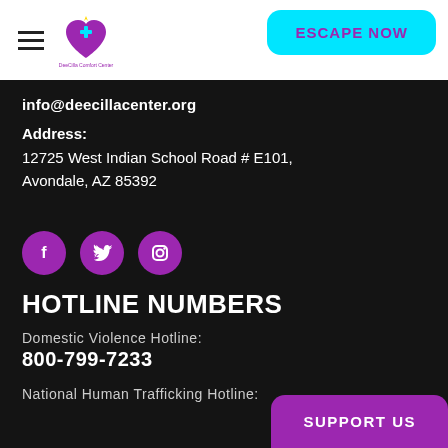DeeCilla Comfort Center — ESCAPE NOW
info@deecillacenter.org
Address:
12725 West Indian School Road # E101,
Avondale, AZ 85392
[Figure (illustration): Three purple circular social media icons: Facebook (f), Twitter (bird), Instagram (camera)]
HOTLINE NUMBERS
Domestic Violence Hotline:
800-799-7233
National Human Trafficking Hotline: